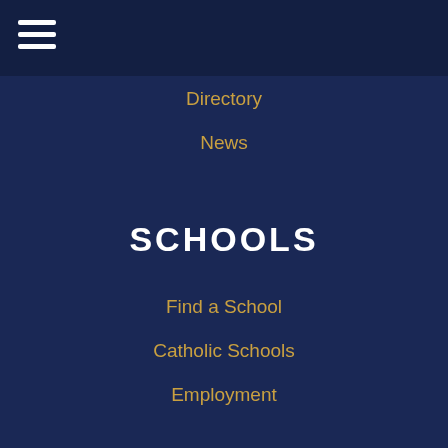Directory
News
SCHOOLS
Find a School
Catholic Schools
Employment
STAY CONNECTED
Subscribe to receive news from the Dioces
Name